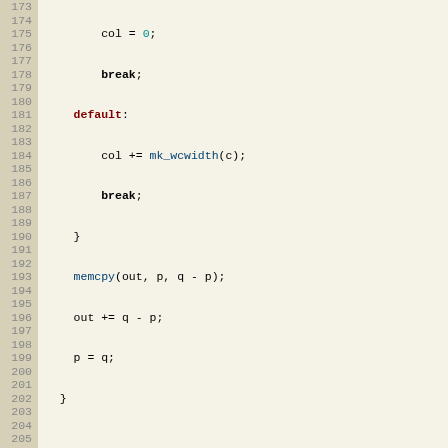[Figure (screenshot): Source code screenshot showing lines 173-205 of a C file with syntax highlighting. The code shows a switch-case block ending, then a function 'owl_text_wordwrap' definition with variable declarations and a while loop.]